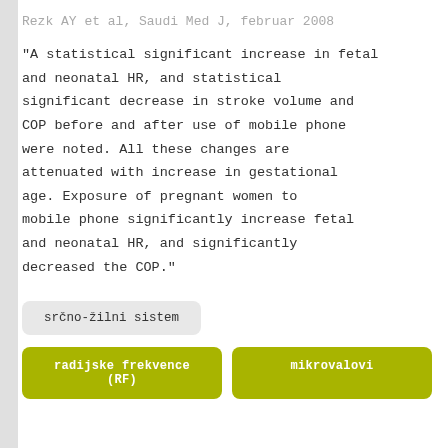Rezk AY et al, Saudi Med J, februar 2008
"A statistical significant increase in fetal and neonatal HR, and statistical significant decrease in stroke volume and COP before and after use of mobile phone were noted. All these changes are attenuated with increase in gestational age. Exposure of pregnant women to mobile phone significantly increase fetal and neonatal HR, and significantly decreased the COP."
srčno-žilni sistem
radijske frekvence (RF)
mikrovalovi